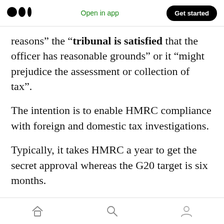Medium logo | Open in app | Get started
reasons” the “tribunal is satisfied that the officer has reasonable grounds” or it “might prejudice the assessment or collection of tax”.
The intention is to enable HMRC compliance with foreign and domestic tax investigations.
Typically, it takes HMRC a year to get the secret approval whereas the G20 target is six months.
That said, they are also intended to assist in tax debt collection. Remember a while back HMRC was given the power to remove money from your
Home | Search | Profile